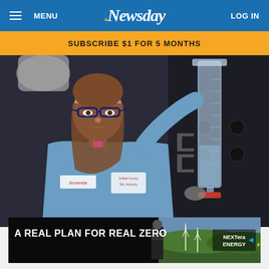MENU  Newsday  LOG IN
SUBSCRIBE $1 FOR 5 MONTHS
[Figure (photo): A female lab worker named Amanda, wearing safety glasses and a blue Suffolk County Water Authority uniform, holds up a large syringe/burette while examining it in a laboratory setting.]
[Figure (photo): Advertisement banner: A REAL PLAN FOR REAL ZERO™ — NextEra Energy ad featuring a worker in a field with wind turbines.]